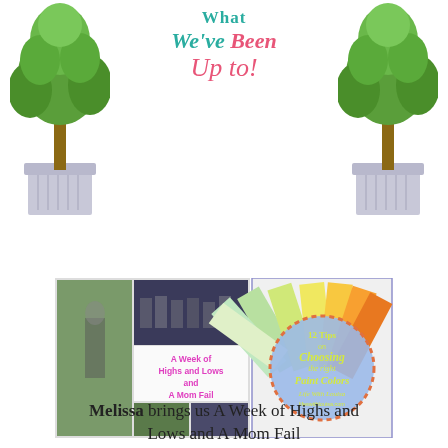[Figure (illustration): Decorative header with two topiary plants in planters on left and right, and script title text reading 'What We've Been Up to!' in teal and pink colors]
[Figure (photo): Collage of photos on left side showing a girl outdoors, group of teens at a sports event, text overlay reading 'A Week of Highs and Lows and A Mom Fail', and a close-up selfie. Right side shows colorful paint swatches with a blue circle overlay reading '12 Tips on Choosing the right Paint Colors Life With Louisa lifeswithlouisa.com']
Melissa brings us A Week of Highs and Lows and A Mom Fail